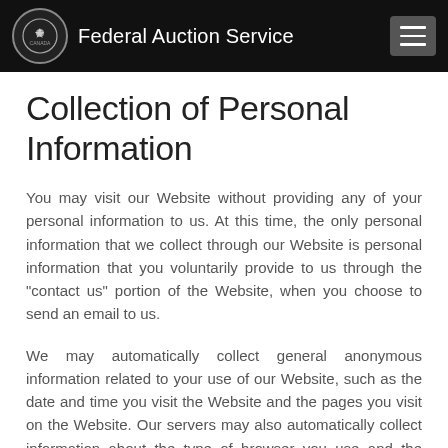Federal Auction Service
Collection of Personal Information
You may visit our Website without providing any of your personal information to us. At this time, the only personal information that we collect through our Website is personal information that you voluntarily provide to us through the "contact us" portion of the Website, when you choose to send an email to us.
We may automatically collect general anonymous information related to your use of our Website, such as the date and time you visit the Website and the pages you visit on the Website. Our servers may also automatically collect information about the type of browser you use and the name